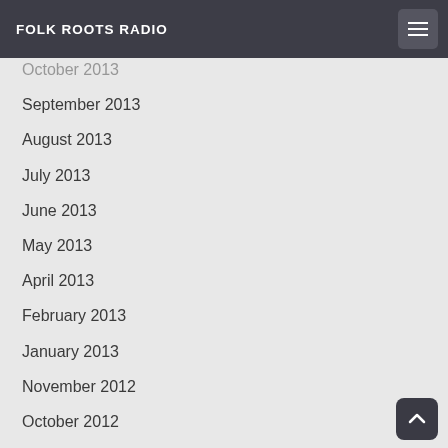FOLK ROOTS RADIO
October 2013
September 2013
August 2013
July 2013
June 2013
May 2013
April 2013
February 2013
January 2013
November 2012
October 2012
September 2012
April 2012
March 2012
November 2011
November 2010